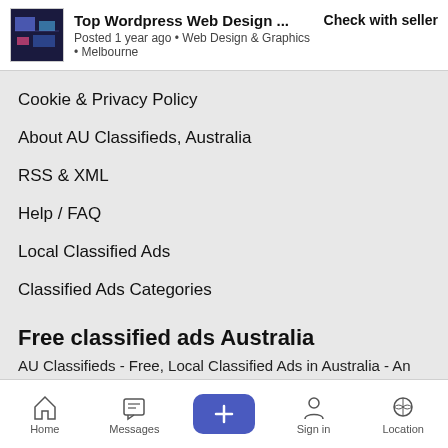Top Wordpress Web Design ... Check with seller
Posted 1 year ago • Web Design & Graphics • Melbourne
Cookie & Privacy Policy
About AU Classifieds, Australia
RSS & XML
Help / FAQ
Local Classified Ads
Classified Ads Categories
Free classified ads Australia
AU Classifieds - Free, Local Classified Ads in Australia - An Australian based company.
Contact us
Copyright © 2022 AU Classifieds All rights reserved.
Home  Messages  +  Sign in  Location